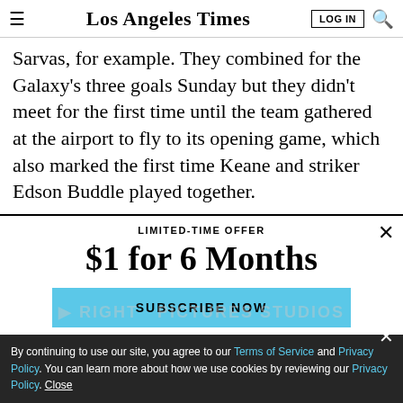Los Angeles Times
Sarvas, for example. They combined for the Galaxy’s three goals Sunday but they didn’t meet for the first time until the team gathered at the airport to fly to its opening game, which also marked the first time Keane and striker Edson Buddle played together.
LIMITED-TIME OFFER
$1 for 6 Months
SUBSCRIBE NOW
By continuing to use our site, you agree to our Terms of Service and Privacy Policy. You can learn more about how we use cookies by reviewing our Privacy Policy. Close